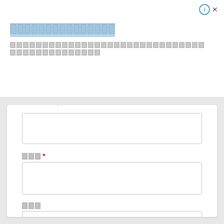[Redacted CJK title text]
[Redacted CJK description text, two lines]
[Figure (screenshot): Web form with two labeled input fields (second required), a checkbox with descriptive text, and a submit button. Tab/accordion panel visible at top left.]